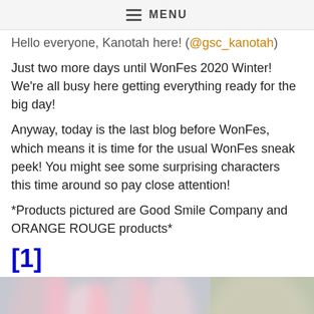≡ MENU
Hello everyone, Kanotah here! (@gsc_kanotah)
Just two more days until WonFes 2020 Winter! We're all busy here getting everything ready for the big day!
Anyway, today is the last blog before WonFes, which means it is time for the usual WonFes sneak peek! You might see some surprising characters this time around so pay close attention!
*Products pictured are Good Smile Company and ORANGE ROUGE products*
[1]
[Figure (photo): Blurred close-up photo of anime figure accessories or parts, showing pink and white curved shapes. Overlaid with an orange banner reading: Check out more figures at the Good Smile Company website!]
Check out more figures at the Good Smile Company website!